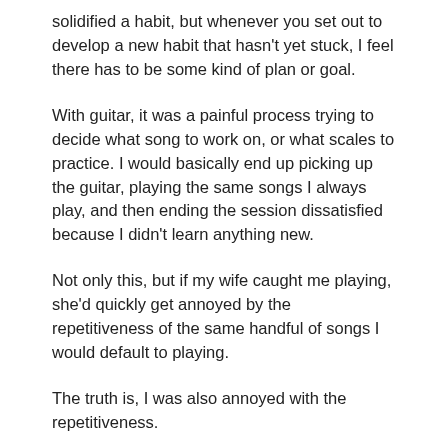solidified a habit, but whenever you set out to develop a new habit that hasn't yet stuck, I feel there has to be some kind of plan or goal.
With guitar, it was a painful process trying to decide what song to work on, or what scales to practice. I would basically end up picking up the guitar, playing the same songs I always play, and then ending the session dissatisfied because I didn't learn anything new.
Not only this, but if my wife caught me playing, she'd quickly get annoyed by the repetitiveness of the same handful of songs I would default to playing.
The truth is, I was also annoyed with the repetitiveness.
No skin in the game